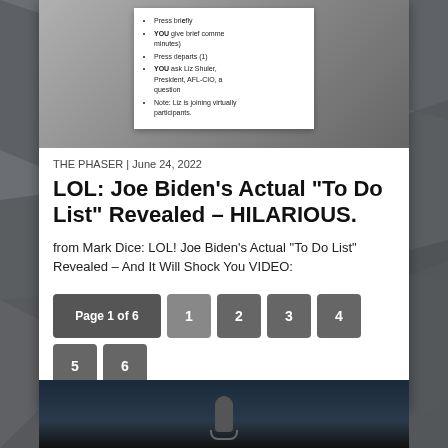[Figure (photo): Photo of hands holding a notecard/cheat sheet with bullet points including text: 'Press briefly', 'YOU give brief comments (2 minutes)', 'Press departs (1)', 'YOU ask Liz Shuler, President, AFL-CIO, a question', 'Note: Liz is joining virtually participants']
THE PHASER | June 24, 2022
LOL: Joe Biden’s Actual “To Do List” Revealed – HILARIOUS.
from Mark Dice: LOL! Joe Biden’s Actual “To Do List” Revealed – And It Will Shock You VIDEO:
Page 1 of 6  1  2  3  4  5  6
[Figure (photo): Bottom portion showing a dark image with a microphone silhouette]